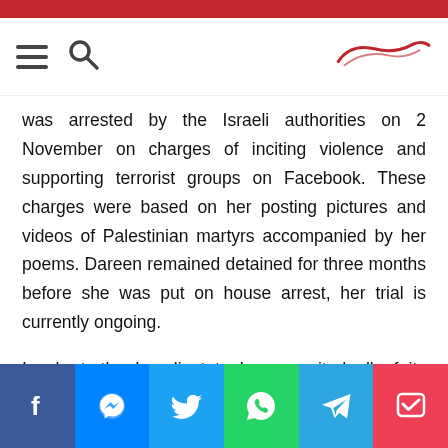Navigation bar with hamburger menu, search icon, and site logo
was arrested by the Israeli authorities on 2 November on charges of inciting violence and supporting terrorist groups on Facebook. These charges were based on her posting pictures and videos of Palestinian martyrs accompanied by her poems. Dareen remained detained for three months before she was put on house arrest, her trial is currently ongoing.

In short, the Israeli state has recruited all of its state, trade, security and military institutions to spread the Zionist narrative across the world and to prevent any attempts by the Palestinians to express themselves. The
Social share buttons: Facebook, Messenger, Twitter, WhatsApp, Telegram, Pocket